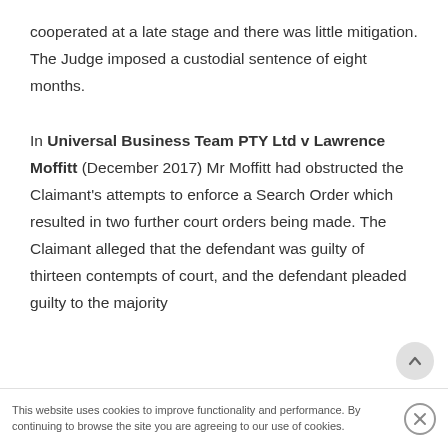cooperated at a late stage and there was little mitigation. The Judge imposed a custodial sentence of eight months.

In Universal Business Team PTY Ltd v Lawrence Moffitt (December 2017) Mr Moffitt had obstructed the Claimant's attempts to enforce a Search Order which resulted in two further court orders being made. The Claimant alleged that the defendant was guilty of thirteen contempts of court, and the defendant pleaded guilty to the majority
This website uses cookies to improve functionality and performance. By continuing to browse the site you are agreeing to our use of cookies.